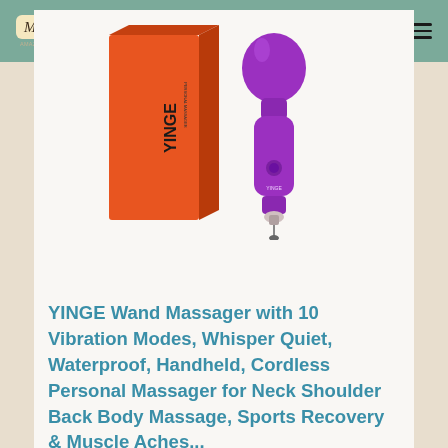Massage Chairs Expert
[Figure (photo): YINGE wand massager product photo showing orange product box with YINGE text and a purple handheld wand massager device next to it]
YINGE Wand Massager with 10 Vibration Modes, Whisper Quiet, Waterproof, Handheld, Cordless Personal Massager for Neck Shoulder Back Body Massage, Sports Recovery & Muscle Aches...